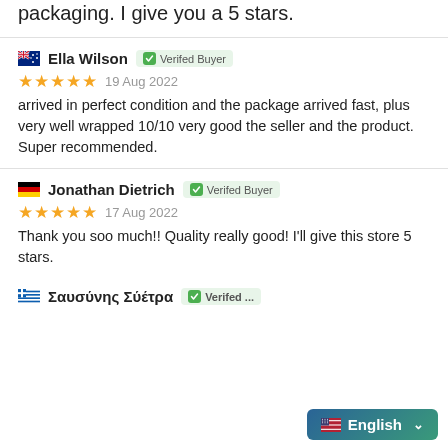packaging. I give you a 5 stars.
Ella Wilson  Verifed Buyer
★★★★★  19 Aug 2022
arrived in perfect condition and the package arrived fast, plus very well wrapped 10/10 very good the seller and the product. Super recommended.
Jonathan Dietrich  Verifed Buyer
★★★★★  17 Aug 2022
Thank you soo much!! Quality really good! I'll give this store 5 stars.
Σαυσύνης Σύέτρα  Verifed ...
English